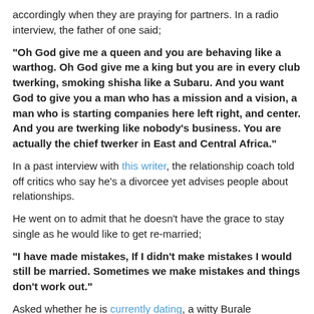accordingly when they are praying for partners. In a radio interview, the father of one said;
“Oh God give me a queen and you are behaving like a warthog. Oh God give me a king but you are in every club twerking, smoking shisha like a Subaru. And you want God to give you a man who has a mission and a vision, a man who is starting companies here left right, and center. And you are twerking like nobody’s business. You are actually the chief twerker in East and Central Africa.”
In a past interview with this writer, the relationship coach told off critics who say he’s a divorcee yet advises people about relationships.
He went on to admit that he doesn’t have the grace to stay single as he would like to get re-married;
“I have made mistakes, If I didn’t make mistakes I would still be married. Sometimes we make mistakes and things don’t work out.”
Asked whether he is currently dating, a witty Burale responded,
“Keep your eyes open and your ears on the ground. God knows what he is doing, I believe one day God will bless me to be in a union of marriage. I don’t have the grace to be single.”
“Marriage is an amazing institution, It is a good idea and God’s idea.